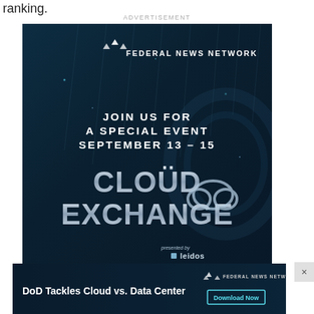ranking.
ADVERTISEMENT
[Figure (illustration): Federal News Network advertisement for Cloud Exchange event, September 13-15. Dark blue background with rain/light streaks. Logo at top: stylized FNN icon with text FEDERAL NEWS NETWORK. Central text: JOIN US FOR A SPECIAL EVENT SEPTEMBER 13 - 15. Large metallic text: CLOUD EXCHANGE with cloud icon. Presented by Leidos logo at bottom right.]
[Figure (illustration): Bottom banner ad: dark blue background, white bold text 'DoD Tackles Cloud vs. Data Center', Federal News Network logo, cyan-bordered 'Download Now' button.]